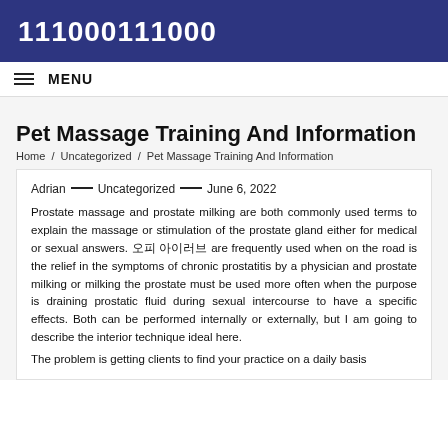111000111000
MENU
Pet Massage Training And Information
Home / Uncategorized / Pet Massage Training And Information
Adrian — Uncategorized — June 6, 2022
Prostate massage and prostate milking are both commonly used terms to explain the massage or stimulation of the prostate gland either for medical or sexual answers. 오피 아이러브 are frequently used when on the road is the relief in the symptoms of chronic prostatitis by a physician and prostate milking or milking the prostate must be used more often when the purpose is draining prostatic fluid during sexual intercourse to have a specific effects. Both can be performed internally or externally, but I am going to describe the interior technique ideal here.
The problem is getting clients to find your practice on a daily basis